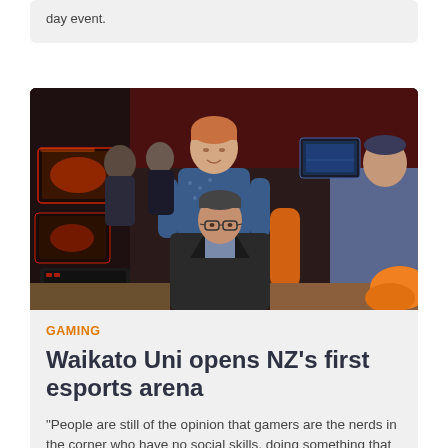day event.
[Figure (photo): People at an esports gaming arena with multiple computer setups, two men in the foreground — one standing in a patterned blue shirt, one seated in a dark jacket with glasses — looking at a monitor. Red-lit gaming computers and other participants visible in the background.]
GAMING
Waikato Uni opens NZ's first esports arena
"People are still of the opinion that gamers are the nerds in the corner who have no social skills, doing something that won't take you anywhere in life. But this initiative is a step towards showing people that